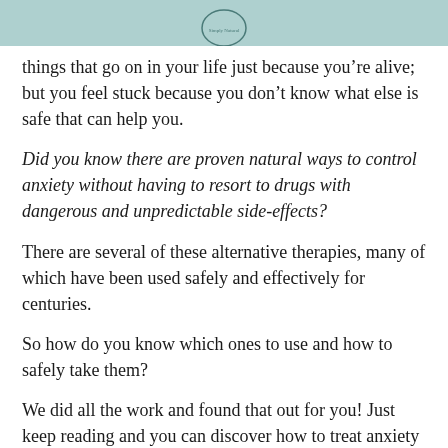things that go on in your life just because you're alive; but you feel stuck because you don't know what else is safe that can help you.
Did you know there are proven natural ways to control anxiety without having to resort to drugs with dangerous and unpredictable side-effects?
There are several of these alternative therapies, many of which have been used safely and effectively for centuries.
So how do you know which ones to use and how to safely take them?
We did all the work and found that out for you! Just keep reading and you can discover how to treat anxiety naturally without addictive drugs.